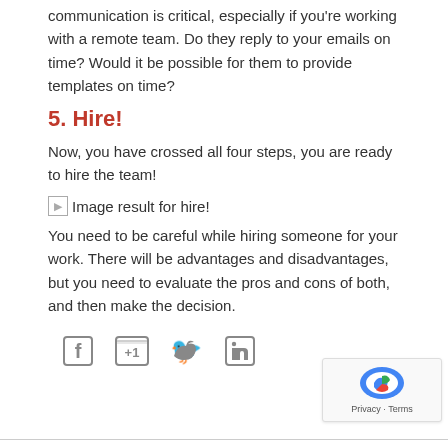communication is critical, especially if you're working with a remote team. Do they reply to your emails on time? Would it be possible for them to provide templates on time?
5. Hire!
Now, you have crossed all four steps, you are ready to hire the team!
[Figure (other): Broken image placeholder with alt text: Image result for hire!]
You need to be careful while hiring someone for your work. There will be advantages and disadvantages, but you need to evaluate the pros and cons of both, and then make the decision.
[Figure (other): Social share icons: Facebook, Google +1, Twitter, LinkedIn]
[Figure (other): reCAPTCHA badge with Privacy and Terms links]